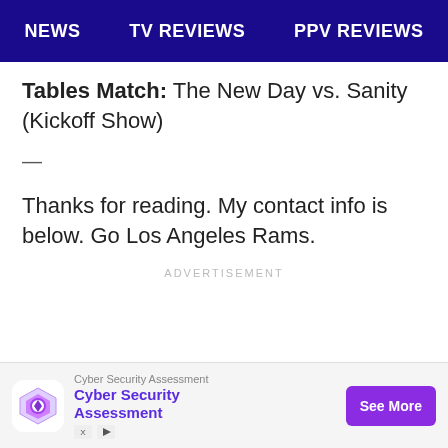NEWS   TV REVIEWS   PPV REVIEWS
Tables Match: The New Day vs. Sanity (Kickoff Show)
—
Thanks for reading. My contact info is below. Go Los Angeles Rams.
ADVERTISEMENT
[Figure (other): Advertisement banner: Cyber Security Assessment with colorful logo and 'See More' button]